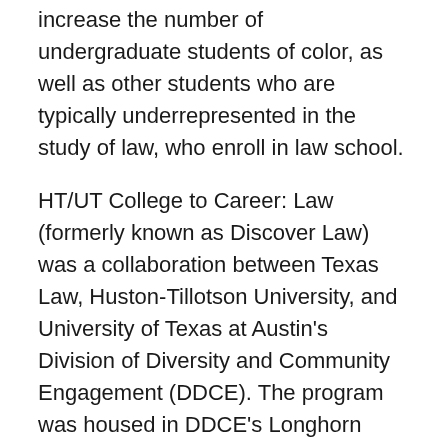increase the number of undergraduate students of color, as well as other students who are typically underrepresented in the study of law, who enroll in law school.
HT/UT College to Career: Law (formerly known as Discover Law) was a collaboration between Texas Law, Huston-Tillotson University, and University of Texas at Austin's Division of Diversity and Community Engagement (DDCE). The program was housed in DDCE's Longhorn Center for Academic Excellence.  Participating undergraduates attended a five-week summer program on legal reasoning and writing, the legal profession and careers, the law school admissions process, and the law school experience.  The program also included supplemental activities and mentoring over the